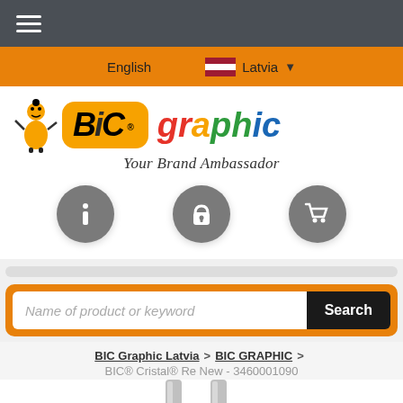Navigation menu (hamburger icon)
English   Latvia ▼
[Figure (logo): BIC Graphic logo with mascot figure, orange BIC badge, and colorful 'graphic' text. Tagline: Your Brand Ambassador]
[Figure (infographic): Three circular grey icons: info (i), padlock/login, and shopping cart]
Name of product or keyword   Search
BIC Graphic Latvia > BIC GRAPHIC > BIC® Cristal® Re New - 3460001090
[Figure (photo): Partial view of two silver/metallic BIC Cristal Re New pens, tips pointing upward]